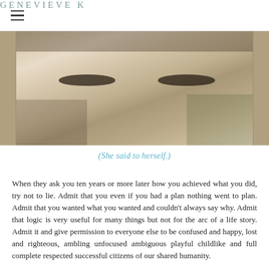GENEVIEVE K
[Figure (photo): Close-up photo of a person's face, likely looking upward, in muted vintage tones with visible eyes and foliage in background]
(She said to herself.)
When they ask you ten years or more later how you achieved what you did, try not to lie. Admit that you even if you had a plan nothing went to plan. Admit that you wanted what you wanted and couldn't always say why. Admit that logic is very useful for many things but not for the arc of a life story. Admit it and give permission to everyone else to be confused and happy, lost and righteous, ambling unfocused ambiguous playful childlike and full complete respected successful citizens of our shared humanity.